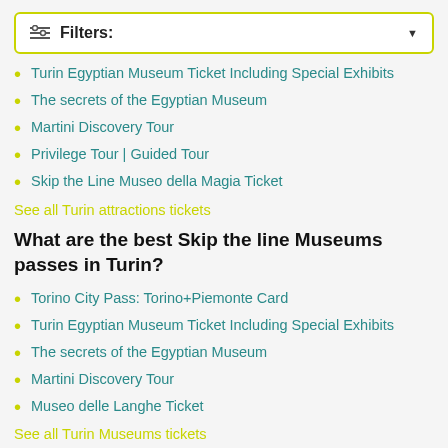Filters:
Turin Egyptian Museum Ticket Including Special Exhibits
The secrets of the Egyptian Museum
Martini Discovery Tour
Privilege Tour | Guided Tour
Skip the Line Museo della Magia Ticket
See all Turin attractions tickets
What are the best Skip the line Museums passes in Turin?
Torino City Pass: Torino+Piemonte Card
Turin Egyptian Museum Ticket Including Special Exhibits
The secrets of the Egyptian Museum
Martini Discovery Tour
Museo delle Langhe Ticket
See all Turin Museums tickets